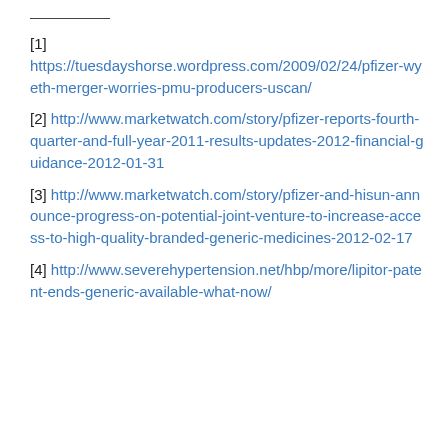[1] https://tuesdayshorse.wordpress.com/2009/02/24/pfizer-wyeth-merger-worries-pmu-producers-uscan/
[2] http://www.marketwatch.com/story/pfizer-reports-fourth-quarter-and-full-year-2011-results-updates-2012-financial-guidance-2012-01-31
[3] http://www.marketwatch.com/story/pfizer-and-hisun-announce-progress-on-potential-joint-venture-to-increase-access-to-high-quality-branded-generic-medicines-2012-02-17
[4] http://www.severehypertension.net/hbp/more/lipitor-patent-ends-generic-available-what-now/